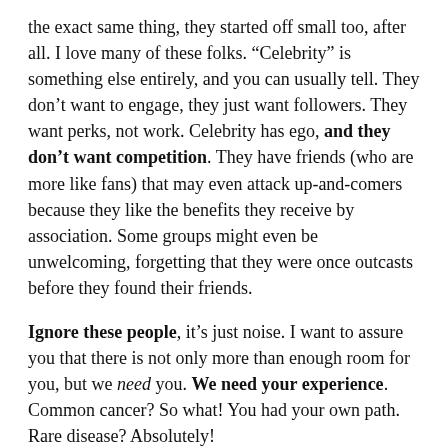the exact same thing, they started off small too, after all. I love many of these folks. “Celebrity” is something else entirely, and you can usually tell. They don’t want to engage, they just want followers. They want perks, not work. Celebrity has ego, and they don’t want competition. They have friends (who are more like fans) that may even attack up-and-comers because they like the benefits they receive by association. Some groups might even be unwelcoming, forgetting that they were once outcasts before they found their friends.
Ignore these people, it’s just noise. I want to assure you that there is not only more than enough room for you, but we need you. We need your experience. Common cancer? So what! You had your own path. Rare disease? Absolutely!